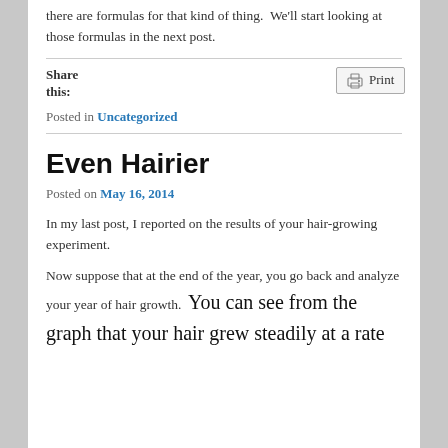there are formulas for that kind of thing.  We'll start looking at those formulas in the next post.
Share this:
Print
Posted in Uncategorized
Even Hairier
Posted on May 16, 2014
In my last post, I reported on the results of your hair-growing experiment.
Now suppose that at the end of the year, you go back and analyze your year of hair growth.  You can see from the graph that your hair grew steadily at a rate